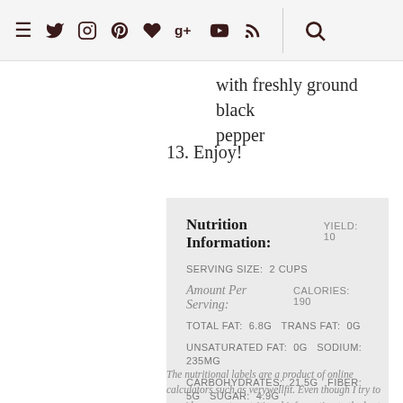Navigation icons: menu, twitter, instagram, pinterest, heart, google+, youtube, rss, search
with freshly ground black pepper
13. Enjoy!
| Nutrition Information: | YIELD: 10 |
| SERVING SIZE: | 2 Cups |
| Amount Per Serving: | CALORIES: 190 |
| TOTAL FAT: | 6.8g TRANS FAT: 0g |
| UNSATURATED FAT: | 0g SODIUM: 235mg |
| CARBOHYDRATES: | 21.5g FIBER: 5g SUGAR: 4.9g |
| PROTEIN: | 10.1g |
The nutritional labels are a product of online calculators such as verywellfit. Even though I try to provide accurate nutritional information to the best of my ability, these figures should still be considered